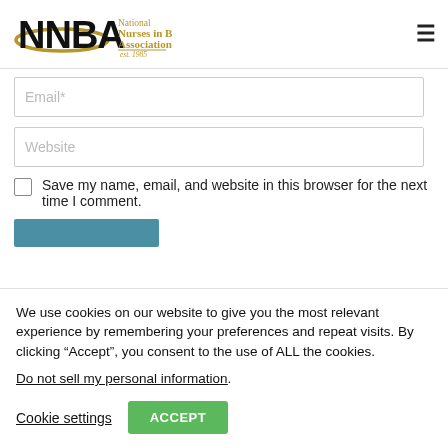National Nurses in Business Association est. 1985
[Figure (logo): NNBA National Nurses in Business Association est. 1985 logo with black bold letters and gold swoosh]
Email*
Website
Save my name, email, and website in this browser for the next time I comment.
We use cookies on our website to give you the most relevant experience by remembering your preferences and repeat visits. By clicking “Accept”, you consent to the use of ALL the cookies.
Do not sell my personal information.
Cookie settings
ACCEPT